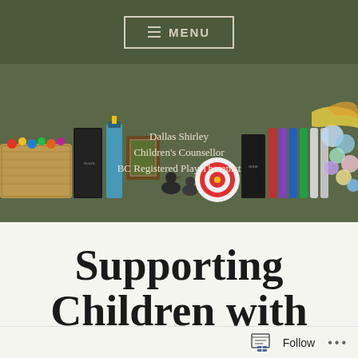≡ MENU
[Figure (illustration): Website banner for Dallas Shirley Children's Counsellor. Dark olive green background with colorful play therapy items arranged along the bottom (books, bottles, toys, marbles, fabric). Centered text reads: Dallas Shirley / Children's Counsellor / BC Registered Play Therapist]
Supporting
Children with
Follow ...